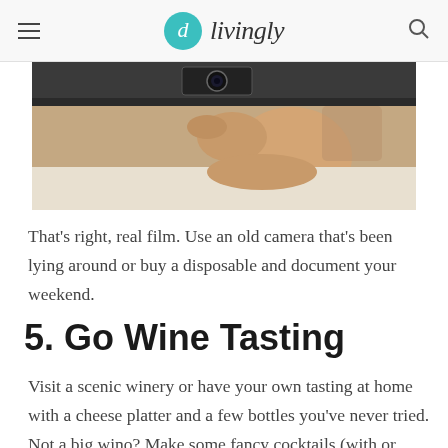livingly
[Figure (photo): Person taking a photo of themselves in a mirror using an old film camera, viewed from above at an angle. Warm tones.]
That's right, real film. Use an old camera that's been lying around or buy a disposable and document your weekend.
5. Go Wine Tasting
Visit a scenic winery or have your own tasting at home with a cheese platter and a few bottles you've never tried. Not a big wino? Make some fancy cocktails (with or without the alcohol).